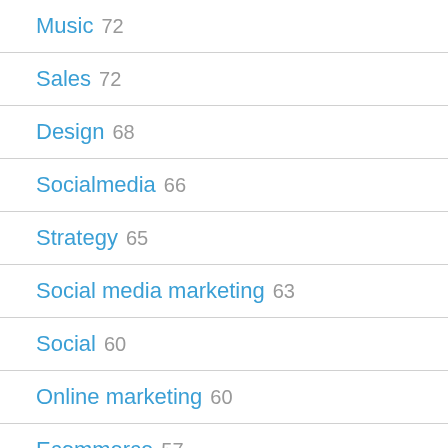Music 72
Sales 72
Design 68
Socialmedia 66
Strategy 65
Social media marketing 63
Social 60
Online marketing 60
Ecommerce 57
Digitaltransformation 57
Travel 55